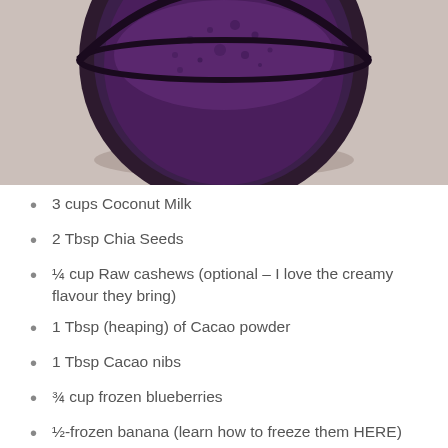[Figure (photo): Top-down view of a dark purple smoothie in a glass with foam bubbles on the surface, on a light beige surface]
3 cups Coconut Milk
2 Tbsp Chia Seeds
¼ cup Raw cashews (optional – I love the creamy flavour they bring)
1 Tbsp (heaping) of Cacao powder
1 Tbsp Cacao nibs
¾ cup frozen blueberries
½-frozen banana (learn how to freeze them HERE)